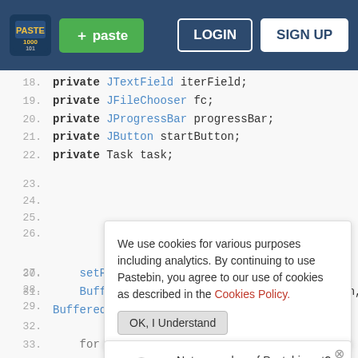[Figure (screenshot): Pastebin website header with logo, green paste button, LOGIN and SIGN UP buttons on dark blue background]
18.    private JTextField iterField;
19.    private JFileChooser fc;
20.    private JProgressBar progressBar;
21.    private JButton startButton;
22.    private Task task;
We use cookies for various purposes including analytics. By continuing to use Pastebin, you agree to our use of cookies as described in the Cookies Policy. OK, I Understand
Not a member of Pastebin yet? Sign Up, it unlocks many cool features!
30.        setProgress(0);
31.        BufferedImage bi = new BufferedImage(w, h, BufferedImage.TYPE_INT_ARGB);
32.
33.        for (int ...